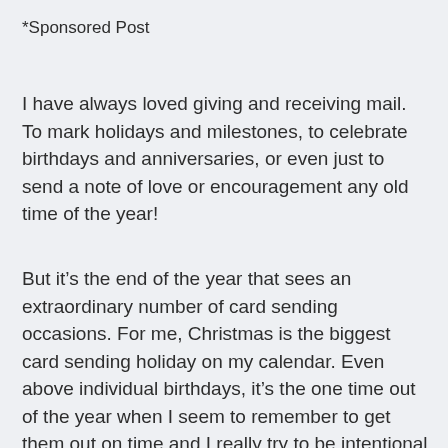*Sponsored Post
I have always loved giving and receiving mail. To mark holidays and milestones, to celebrate birthdays and anniversaries, or even just to send a note of love or encouragement any old time of the year!
But it’s the end of the year that sees an extraordinary number of card sending occasions. For me, Christmas is the biggest card sending holiday on my calendar. Even above individual birthdays, it’s the one time out of the year when I seem to remember to get them out on time and I really try to be intentional about sending love and cheer via snail mail to every person in my address